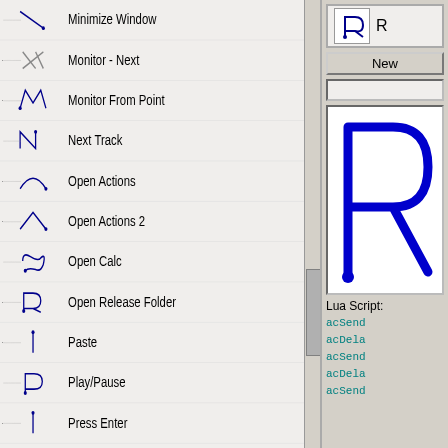[Figure (screenshot): Application window showing a gesture list on the left with gesture icons and names (Minimize Window, Monitor - Next, Monitor From Point, Next Track, Open Actions, Open Actions 2, Open Calc, Open Release Folder, Paste, Play/Pause, Press Enter, Prev Track, Redo, Refresh, Run Notepad, Run Notepad type some stuff - selected highlighted in blue), and on the right panel: an R icon with label 'R', a New button, an empty field, a canvas with a blue R gesture drawn, a Lua Script label, and partial Lua code (acSend, acDelay, acSend, acDelay, acSend).]